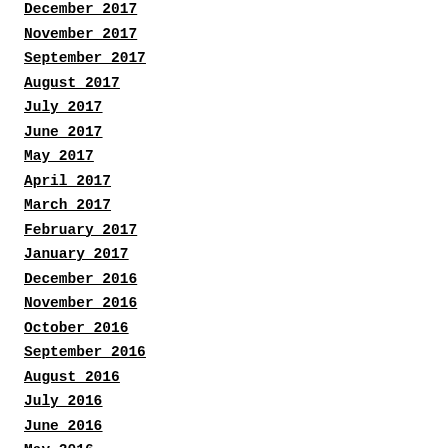December 2017
November 2017
September 2017
August 2017
July 2017
June 2017
May 2017
April 2017
March 2017
February 2017
January 2017
December 2016
November 2016
October 2016
September 2016
August 2016
July 2016
June 2016
May 2016